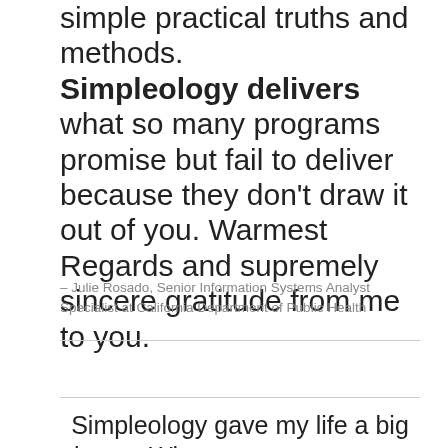simple practical truths and methods. Simpleology delivers what so many programs promise but fail to deliver because they don't draw it out of you. Warmest Regards and supremely sincere gratitude from me to you.
– Julie Rosado, Senior Information Systems Analyst Specialist at California Department of Public Health
Simpleology gave my life a big boost. What a great system to focus on the